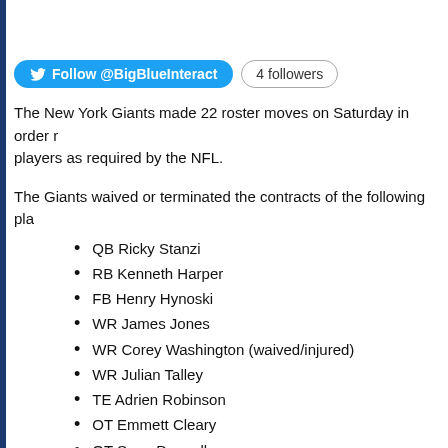[Figure (other): Twitter Follow button for @BigBlueInteract with '4 followers' badge]
The New York Giants made 22 roster moves on Saturday in order to reduce their players as required by the NFL.
The Giants waived or terminated the contracts of the following players:
QB Ricky Stanzi
RB Kenneth Harper
FB Henry Hynoski
WR James Jones
WR Corey Washington (waived/injured)
WR Julian Talley
TE Adrien Robinson
OT Emmett Cleary
OT Sean Donnelly
OG Adam Gettis
DE Brad Bars